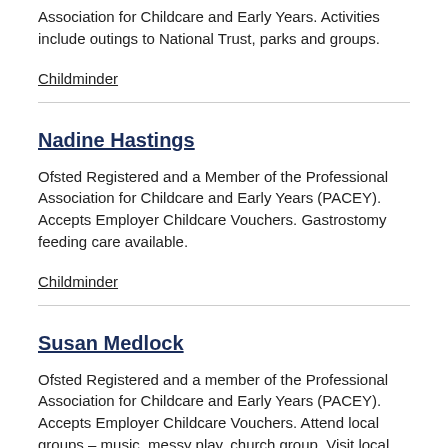Association for Childcare and Early Years. Activities include outings to National Trust, parks and groups.
Childminder
Nadine Hastings
Ofsted Registered and a Member of the Professional Association for Childcare and Early Years (PACEY). Accepts Employer Childcare Vouchers. Gastrostomy feeding care available.
Childminder
Susan Medlock
Ofsted Registered and a member of the Professional Association for Childcare and Early Years (PACEY). Accepts Employer Childcare Vouchers. Attend local groups – music, messy play, church group. Visit local parks. Works with an